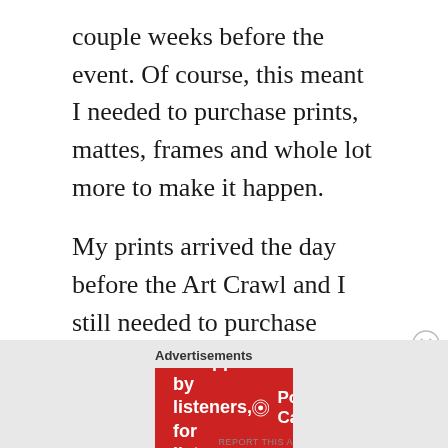couple weeks before the event. Of course, this meant I needed to purchase prints, mattes, frames and whole lot more to make it happen.
My prints arrived the day before the Art Crawl and I still needed to purchase mattes. It always seems to be the little things that I forget with these hurried events. The day of, I ran out of tape, I realized I was missing some 5×7 prints from my online order, I forgot to print business cards/brochures and I had to get change an hour before the event started.
[Figure (infographic): Advertisement banner for Pocket Casts app: red background with text 'An app by listeners, for listeners.' and Pocket Casts logo, with a phone image showing 'Distributed' text]